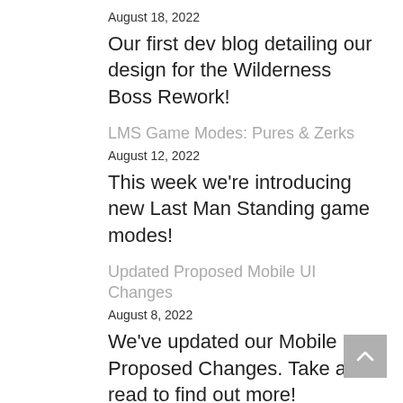August 18, 2022
Our first dev blog detailing our design for the Wilderness Boss Rework!
LMS Game Modes: Pures & Zerks
August 12, 2022
This week we're introducing new Last Man Standing game modes!
Updated Proposed Mobile UI Changes
August 8, 2022
We've updated our Mobile UI Proposed Changes. Take a read to find out more!
Q&A Summary 29/07/2022
August 4, 2022
Catch up with what you missed in last